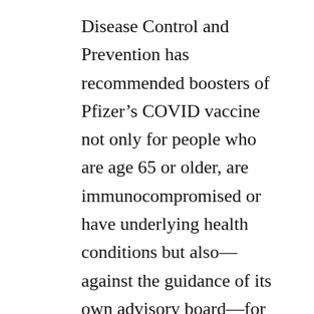Disease Control and Prevention has recommended boosters of Pfizer's COVID vaccine not only for people who are age 65 or older, are immunocompromised or have underlying health conditions but also—against the guidance of its own advisory board—for all adults in loosely defined “high-risk” occupations. (A Food and Drug Administration panel recently voted to recommend boosters of Moderna’s and Johnson & Johnson’s vaccines for similar groups as well.) And in August, two FDA officials stepped down over concerns about the Biden administration pushing health agencies to approve boosters for all vaccinated people after eight months without much